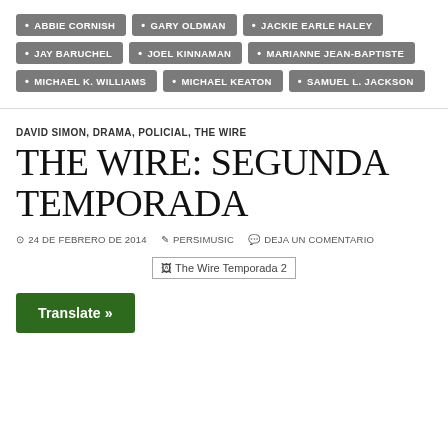ABBIE CORNISH
GARY OLDMAN
JACKIE EARLE HALEY
JAY BARUCHEL
JOEL KINNAMAN
MARIANNE JEAN-BAPTISTE
MICHAEL K. WILLIAMS
MICHAEL KEATON
SAMUEL L. JACKSON
DAVID SIMON, DRAMA, POLICIAL, THE WIRE
THE WIRE: SEGUNDA TEMPORADA
24 DE FEBRERO DE 2014  PERSIMUSIC  DEJA UN COMENTARIO
[Figure (other): Broken image placeholder for The Wire Temporada 2]
Translate »